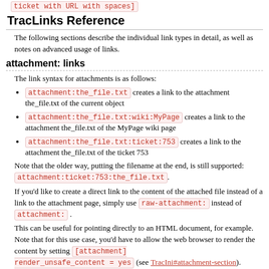ticket with URL with spaces]
TracLinks Reference
The following sections describe the individual link types in detail, as well as notes on advanced usage of links.
attachment: links
The link syntax for attachments is as follows:
attachment:the_file.txt creates a link to the attachment the_file.txt of the current object
attachment:the_file.txt:wiki:MyPage creates a link to the attachment the_file.txt of the MyPage wiki page
attachment:the_file.txt:ticket:753 creates a link to the attachment the_file.txt of the ticket 753
Note that the older way, putting the filename at the end, is still supported: attachment:ticket:753:the_file.txt.
If you'd like to create a direct link to the content of the attached file instead of a link to the attachment page, simply use raw-attachment: instead of attachment: .
This can be useful for pointing directly to an HTML document, for example. Note that for this use case, you'd have to allow the web browser to render the content by setting [attachment] render_unsafe_content = yes (see TracIni#attachment-section). Caveat: only do that in environments for which you're